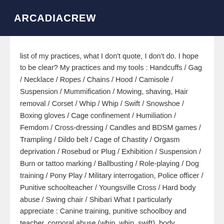ARCADIACREW
list of my practices, what I don't quote, I don't do. I hope to be clear? My practices and my tools : Handcuffs / Gag / Necklace / Ropes / Chains / Hood / Camisole / Suspension / Mummification / Mowing, shaving, Hair removal / Corset / Whip / Whip / Swift / Snowshoe / Boxing gloves / Cage confinement / Humiliation / Femdom / Cross-dressing / Candles and BDSM games / Trampling / Dildo belt / Cage of Chastity / Orgasm deprivation / Rosebud or Plug / Exhibition / Suspension / Burn or tattoo marking / Ballbusting / Role-playing / Dog training / Pony Play / Military interrogation, Police officer / Punitive schoolteacher / Youngsville Cross / Hard body abuse / Swing chair / Shibari What I particularly appreciate : Canine training, punitive schoolboy and teacher, corporal abuse (whip, whip, swift), body marking, trampling, ballbusting, femdom, belt dildo.
[Figure (photo): Dark image strip at the bottom of the page]